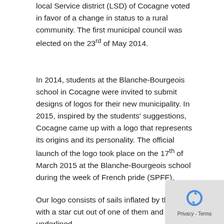local Service district (LSD) of Cocagne voted in favor of a change in status to a rural community. The first municipal council was elected on the 23rd of May 2014.
In 2014, students at the Blanche-Bourgeois school in Cocagne were invited to submit designs of logos for their new municipality. In 2015, inspired by the students' suggestions, Cocagne came up with a logo that represents its origins and its personality. The official launch of the logo took place on the 17th of March 2015 at the Blanche-Bourgeois school during the week of French pride (SPFF).
Our logo consists of sails inflated by the wind with a star cut out of one of them and underlined